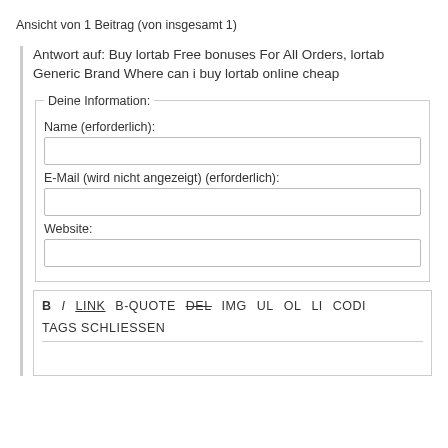Ansicht von 1 Beitrag (von insgesamt 1)
Antwort auf: Buy lortab Free bonuses For All Orders, lortab Generic Brand Where can i buy lortab online cheap
Deine Information:
Name (erforderlich):
E-Mail (wird nicht angezeigt) (erforderlich):
Website:
B  I  LINK  B-QUOTE  DEL  IMG  UL  OL  LI  CODI
TAGS SCHLIESSEN